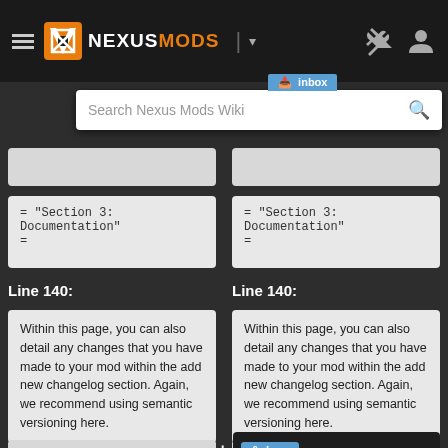[Figure (screenshot): NexusMods website header with logo, hamburger menu, divider, chevron, wrench/screwdriver icon, and user profile icon]
Search Nexus Mods Wiki
= "Section 3: Documentation"
=
= "Section 3: Documentation"
=
Line 140:
Line 140:
Within this page, you can also detail any changes that you have made to your mod within the add new changelog section. Again, we recommend using semantic versioning here.
Within this page, you can also detail any changes that you have made to your mod within the add new changelog section. Again, we recommend using semantic versioning here.
&nbsp;
+ &nbsp;